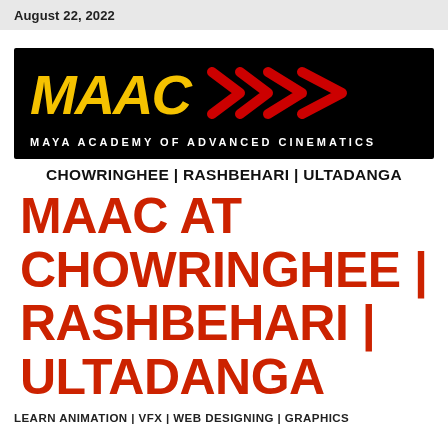August 22, 2022
[Figure (logo): MAAC logo — black background with yellow stylized 'MAAC' text in italic bold, red chevron arrows to the right, and white text below reading 'MAYA ACADEMY OF ADVANCED CINEMATICS']
CHOWRINGHEE | RASHBEHARI | ULTADANGA
MAAC AT CHOWRINGHEE | RASHBEHARI | ULTADANGA
LEARN ANIMATION | VFX | WEB DESIGNING | GRAPHICS